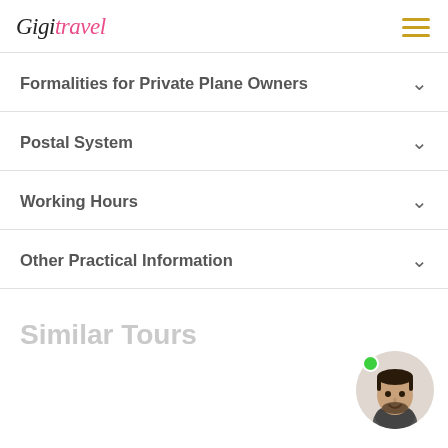Gigit Travel
Formalities for Private Plane Owners
Postal System
Working Hours
Other Practical Information
Similar Tours
[Figure (photo): Circular avatar photo of a smiling man with dark beard and hair, with a green online status dot in the upper-left of the circle]